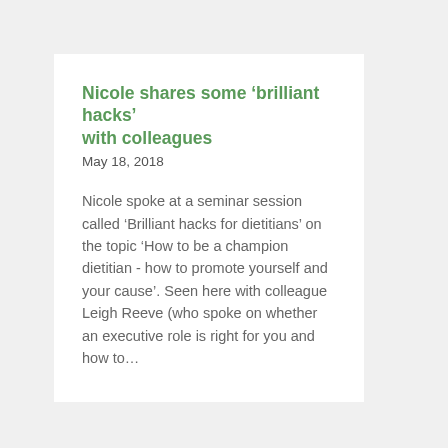Nicole shares some ‘brilliant hacks’ with colleagues
May 18, 2018
Nicole spoke at a seminar session called ‘Brilliant hacks for dietitians’ on the topic ‘How to be a champion dietitian - how to promote yourself and your cause’. Seen here with colleague Leigh Reeve (who spoke on whether an executive role is right for you and how to…